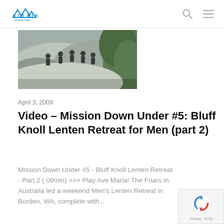AIRMARIA
[Figure (photo): Group of people climbing or resting on a large rock surface outdoors, with green vegetation in the background.]
April 3, 2009
Video – Mission Down Under #5: Bluff Knoll Lenten Retreat for Men (part 2)
Mission Down Under #5 - Bluff Knoll Lenten Retreat - Part 2 ( 09min) >>> Play Ave Maria! The Friars in Australia led a weekend Men's Lenten Retreat in Borden, WA, complete with...